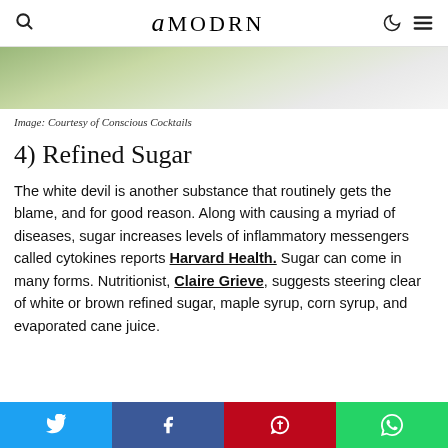AMODRN
[Figure (photo): Partial photo showing a person in white, likely holding a glass, against a light background — cropped banner image for a cocktail/health article.]
Image: Courtesy of Conscious Cocktails
4) Refined Sugar
The white devil is another substance that routinely gets the blame, and for good reason. Along with causing a myriad of diseases, sugar increases levels of inflammatory messengers called cytokines reports Harvard Health. Sugar can come in many forms. Nutritionist, Claire Grieve, suggests steering clear of white or brown refined sugar, maple syrup, corn syrup, and evaporated cane juice.
Social share bar: Twitter, Facebook, Pinterest, WhatsApp